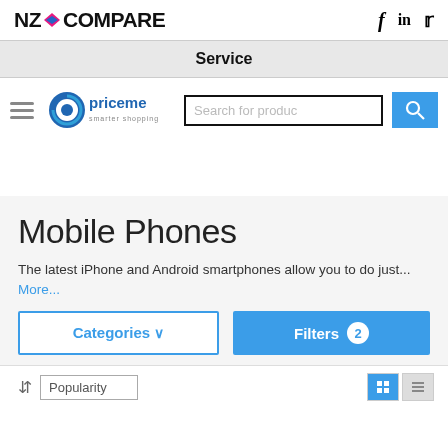NZ Compare
Service
[Figure (logo): PriceMe logo with hamburger menu and search bar]
Mobile Phones
The latest iPhone and Android smartphones allow you to do just... More...
Categories V   Filters 2